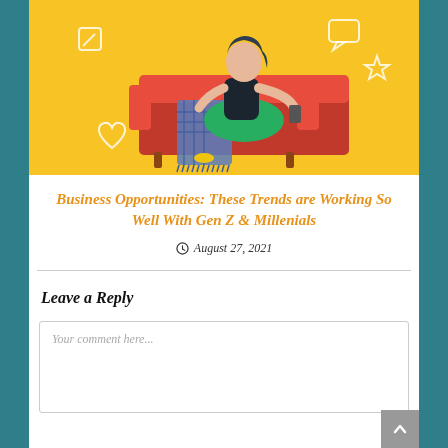[Figure (illustration): Illustration of a woman with dark hair reclining on a red sofa with a blue plaid blanket, using a phone. Yellow background with decorative icons (pencil, chat, star, heart).]
Business Opportunities: These Trends are Working So Well With Gen Z & Millenials
August 27, 2021
Leave a Reply
Your comment here...